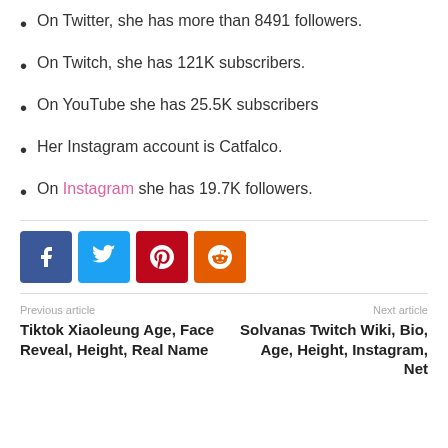On Twitter, she has more than 8491 followers.
On Twitch, she has 121K subscribers.
On YouTube she has 25.5K subscribers
Her Instagram account is Catfalco.
On Instagram she has 19.7K followers.
[Figure (infographic): Social media share buttons: Facebook (blue), Twitter (light blue), Pinterest (dark red), Reddit (orange)]
Previous article
Tiktok Xiaoleung Age, Face Reveal, Height, Real Name
Next article
Solvanas Twitch Wiki, Bio, Age, Height, Instagram, Net